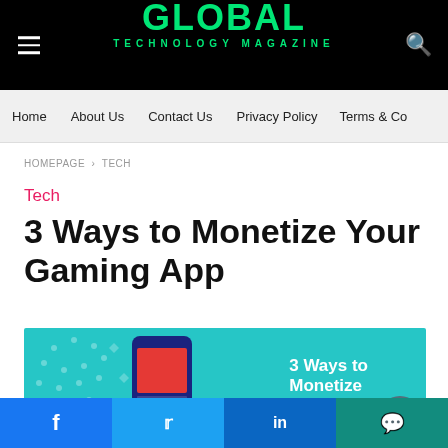GLOBAL TECHNOLOGY MAGAZINE
Home   About Us   Contact Us   Privacy Policy   Terms & Co
HOMEPAGE › TECH
Tech
3 Ways to Monetize Your Gaming App
[Figure (illustration): Teal/cyan background illustration showing a smartphone with a red screen, decorative dots on the left, and overlay text '3 Ways to Monetize' in white on the right side. A grey circular scroll-to-top button is visible.]
Facebook   Twitter   LinkedIn   WhatsApp